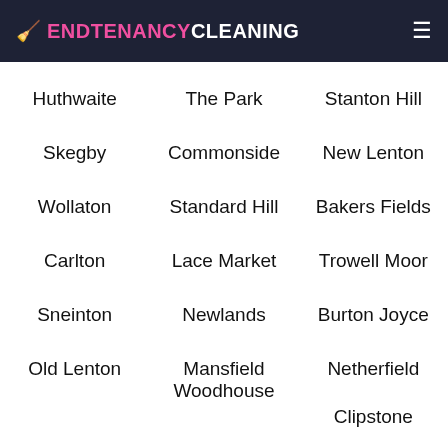ENDTENANCYCLEANING
Huthwaite
The Park
Stanton Hill
Skegby
Commonside
New Lenton
Wollaton
Standard Hill
Bakers Fields
Carlton
Lace Market
Trowell Moor
Sneinton
Newlands
Burton Joyce
Old Lenton
Mansfield Woodhouse
Netherfield
Clipstone
Bulcote
Fackley
Meadows
Dunkirk
Lowdham
Edingley